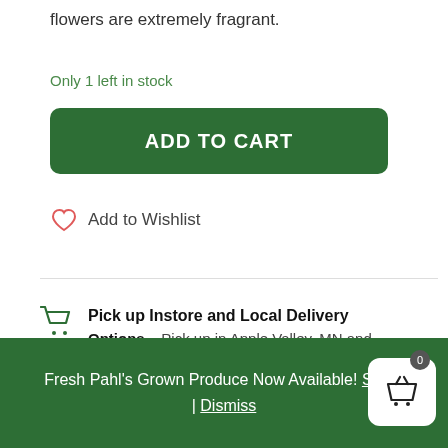flowers are extremely fragrant.
Only 1 left in stock
ADD TO CART
Add to Wishlist
Pick up Instore and Local Delivery Options – Pick up in Apple Valley, MN and
Fresh Pahl's Grown Produce Now Available! Shop! | Dismiss